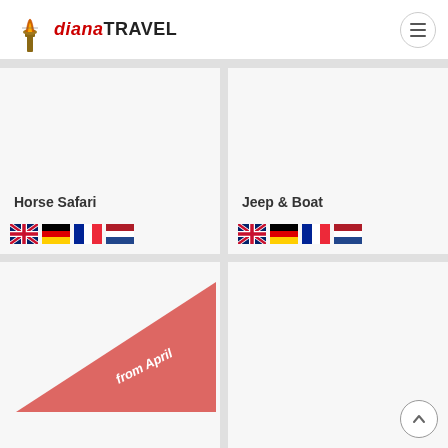diana TRAVEL
[Figure (illustration): Card showing Horse Safari tour with language flags (UK, Germany, France, Netherlands)]
Horse Safari
[Figure (illustration): Card showing Jeep & Boat tour with language flags (UK, Germany, France, Netherlands)]
Jeep & Boat
[Figure (illustration): Card with red triangle ribbon labeled 'from April']